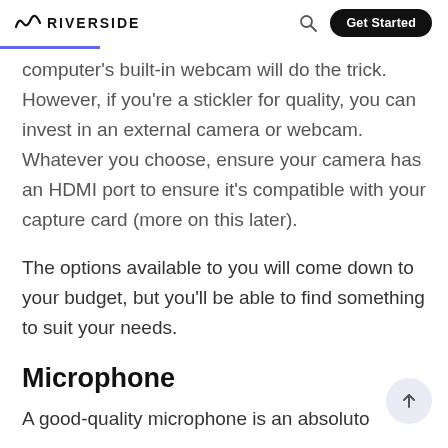RIVERSIDE
computer's built-in webcam will do the trick. However, if you're a stickler for quality, you can invest in an external camera or webcam. Whatever you choose, ensure your camera has an HDMI port to ensure it's compatible with your capture card (more on this later).
The options available to you will come down to your budget, but you'll be able to find something to suit your needs.
Microphone
A good-quality microphone is an absoluto